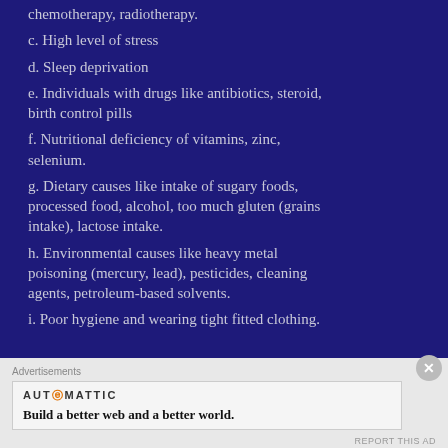chemotherapy, radiotherapy.
c. High level of stress
d. Sleep deprivation
e. Individuals with drugs like antibiotics, steroid, birth control pills
f. Nutritional deficiency of vitamins, zinc, selenium.
g. Dietary causes like intake of sugary foods, processed food, alcohol, too much gluten (grains intake), lactose intake.
h. Environmental causes like heavy metal poisoning (mercury, lead), pesticides, cleaning agents, petroleum-based solvents.
i. Poor hygiene and wearing tight fitted clothing.
Advertisements
AUTOMATTIC
Build a better web and a better world.